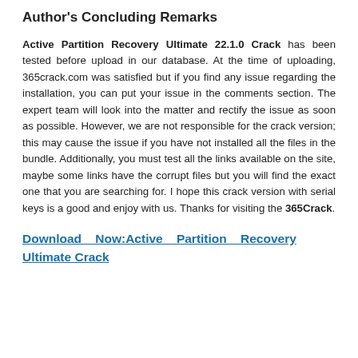Author's Concluding Remarks
Active Partition Recovery Ultimate 22.1.0 Crack has been tested before upload in our database. At the time of uploading, 365crack.com was satisfied but if you find any issue regarding the installation, you can put your issue in the comments section. The expert team will look into the matter and rectify the issue as soon as possible. However, we are not responsible for the crack version; this may cause the issue if you have not installed all the files in the bundle. Additionally, you must test all the links available on the site, maybe some links have the corrupt files but you will find the exact one that you are searching for. I hope this crack version with serial keys is a good and enjoy with us. Thanks for visiting the 365Crack.
Download Now:Active Partition Recovery Ultimate Crack